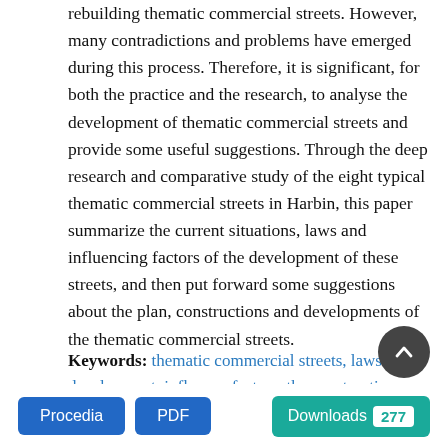rebuilding thematic commercial streets. However, many contradictions and problems have emerged during this process. Therefore, it is significant, for both the practice and the research, to analyse the development of thematic commercial streets and provide some useful suggestions. Through the deep research and comparative study of the eight typical thematic commercial streets in Harbin, this paper summarize the current situations, laws and influencing factors of the development of these streets, and then put forward some suggestions about the plan, constructions and developments of the thematic commercial streets.
Keywords: thematic commercial streets, laws of the development, influence factors, the constructions and developments, degrees of aggregation